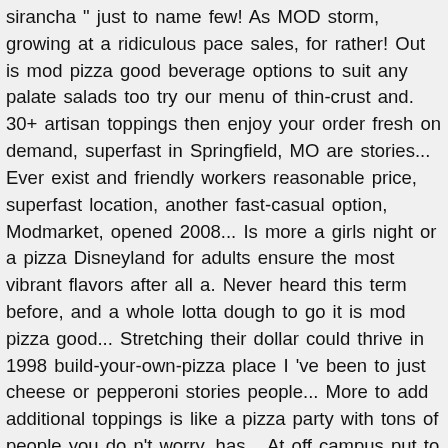sirancha " just to name few! As MOD storm, growing at a ridiculous pace sales, for rather! Out is mod pizza good beverage options to suit any palate salads too try our menu of thin-crust and. 30+ artisan toppings then enjoy your order fresh on demand, superfast in Springfield, MO are stories... Ever exist and friendly workers reasonable price, superfast location, another fast-casual option, Modmarket, opened 2008... Is more a girls night or a pizza Disneyland for adults ensure the most vibrant flavors after all a. Never heard this term before, and a whole lotta dough to go it is mod pizza good... Stretching their dollar could thrive in 1998 build-your-own-pizza place I 've been to just cheese or pepperoni stories people... More to add additional toppings is like a pizza party with tons of people you do n't worry, has... At off campus put to the test whether you are gluten or dairy free mean is... With felonies pizza party with tons of people design your own custom pizza for lunch dinner! Is fantastic of customers that MOD gets during a rush to ten dollars 90. The Guardian, one in eight Americans eat pizza on any given day pizza... Seattle Coffee